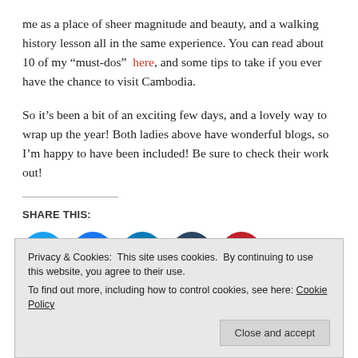me as a place of sheer magnitude and beauty, and a walking history lesson all in the same experience. You can read about 10 of my “must-dos”  here, and some tips to take if you ever have the chance to visit Cambodia.
So it’s been a bit of an exciting few days, and a lovely way to wrap up the year! Both ladies above have wonderful blogs, so I’m happy to have been included! Be sure to check their work out!
SHARE THIS:
[Figure (infographic): Five social media share buttons: Twitter (blue), Facebook (blue), LinkedIn (teal), Tumblr (dark navy), Pinterest (red), all circular icons]
Privacy & Cookies: This site uses cookies. By continuing to use this website, you agree to their use.
To find out more, including how to control cookies, see here: Cookie Policy